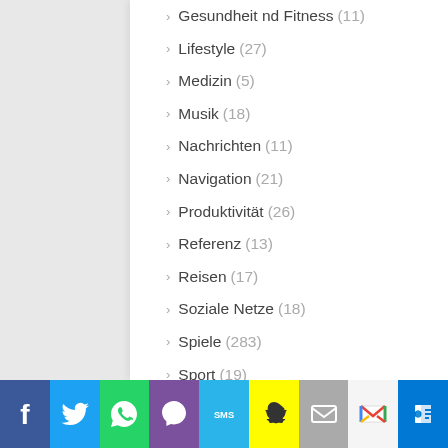Gesundheit nd Fitness (11)
Lifestyle (27)
Medizin (5)
Musik (18)
Nachrichten (11)
Navigation (21)
Produktivität (26)
Referenz (13)
Reisen (17)
Soziale Netze (18)
Spiele (283)
Sport (19)
Unterhaltung (43)
Wetter (6)
Wirtschaft (14)
4. Allgemein (65)
Werbung (10)